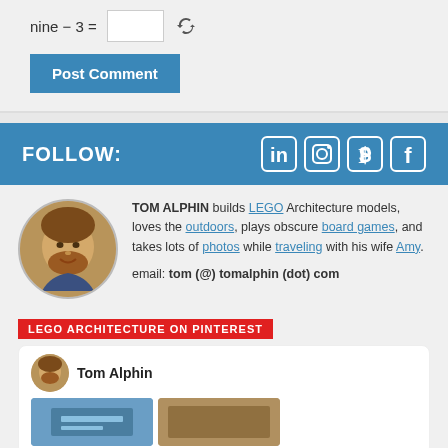nine − 3 =
Post Comment
FOLLOW:
[Figure (illustration): Social media icons: LinkedIn, Instagram, Pinterest, Facebook in white on blue bar]
[Figure (photo): Circular portrait photo of Tom Alphin, a man with reddish beard and curly hair]
TOM ALPHIN builds LEGO Architecture models, loves the outdoors, plays obscure board games, and takes lots of photos while traveling with his wife Amy. email: tom (@) tomalphin (dot) com
LEGO ARCHITECTURE ON PINTEREST
Tom Alphin
[Figure (photo): Two thumbnail images in a Pinterest card]